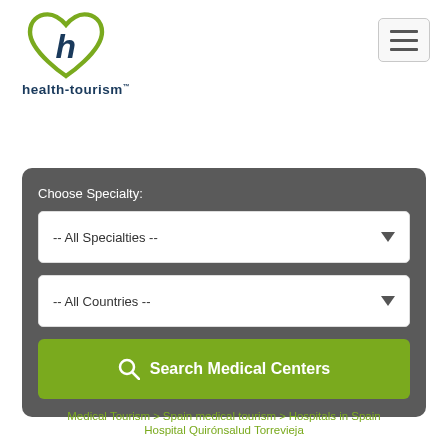[Figure (logo): health-tourism.com logo with heart shape containing letter h in green and dark blue, with text 'health-tourism' below in dark navy bold]
[Figure (other): Hamburger menu button (three horizontal bars) in top right corner]
Choose Specialty:
-- All Specialties --
-- All Countries --
Search Medical Centers
Medical Tourism > Spain medical tourism > Hospitals in Spain
Hospital Quirónsalud Torrevieja